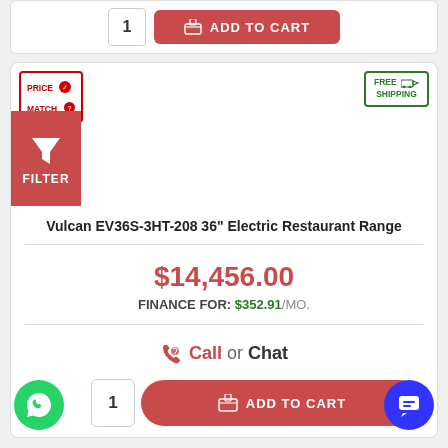[Figure (screenshot): Top partial product card with quantity box showing '1' and red Add to Cart button with cart icon]
[Figure (infographic): Price Match badge with red border in top-left of product card]
[Figure (infographic): Free Shipping badge with green border in top-right of product card]
[Figure (infographic): Red Filter button with funnel icon on left side of card]
Vulcan EV36S-3HT-208 36" Electric Restaurant Range
$14,456.00
FINANCE FOR: $352.91/mo.
Call or Chat
[Figure (infographic): Bottom add-to-cart row with quantity box '1' and red rounded Add to Cart button]
[Figure (infographic): Green WhatsApp circle button bottom-left]
[Figure (infographic): Blue chat circle button bottom-right]